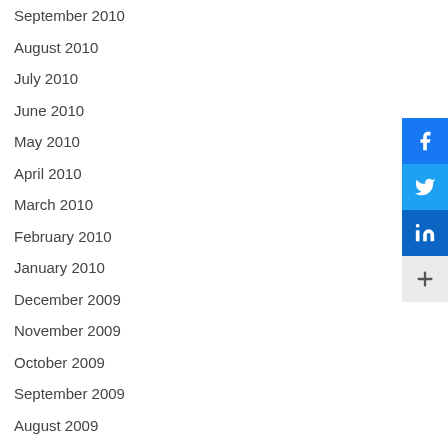September 2010
August 2010
July 2010
June 2010
May 2010
April 2010
March 2010
February 2010
January 2010
December 2009
November 2009
October 2009
September 2009
August 2009
July 2009
June 2009